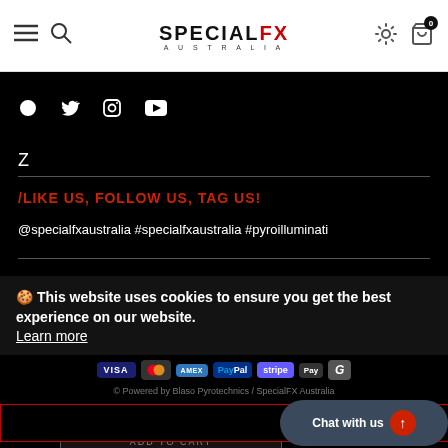Special FX Australia – navigation bar with logo, menu, search, settings, cart
[Figure (screenshot): Social media icons: Facebook, Twitter, Instagram, YouTube on black background]
Z
/LIKE US, FOLLOW US, TAG US!
@specialfxaustralia #specialfxaustralia #pyroilluminati
🍪 This website uses cookies to ensure you get the best experience on our website. Learn more
[Figure (logo): Payment icons: Visa, Mastercard, AMEX, PayPal, Stripe, Apple Pay, Google Pay]
© Powered by Blaso Pyrotechnics / SpecialFX Australia
Got it!
Chat with us
ADD TO CART